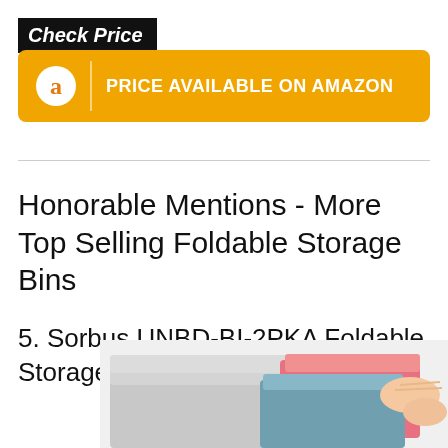Check Price
[Figure (infographic): Orange Amazon button with Amazon 'a' logo and text 'PRICE AVAILABLE ON AMAZON']
Honorable Mentions - More Top Selling Foldable Storage Bins
5. Sorbus UNBD-BI-2PKA Foldable Storage Bin
[Figure (photo): Photo of folded colorful fabric storage bins - grey, pink, and teal colors stacked together, held by hands]